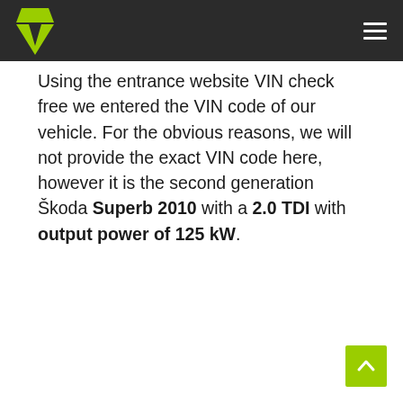Using the entrance website VIN check free we entered the VIN code of our vehicle. For the obvious reasons, we will not provide the exact VIN code here, however it is the second generation Škoda Superb 2010 with a 2.0 TDI with output power of 125 kW.